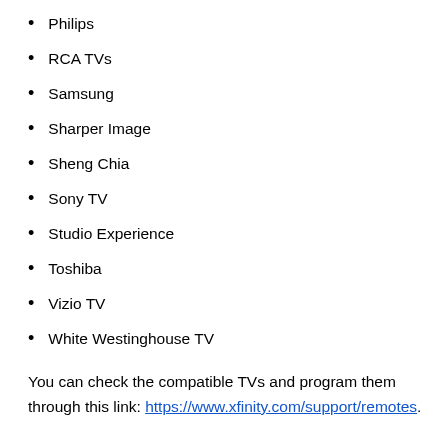Philips
RCA TVs
Samsung
Sharper Image
Sheng Chia
Sony TV
Studio Experience
Toshiba
Vizio TV
White Westinghouse TV
You can check the compatible TVs and program them through this link: https://www.xfinity.com/support/remotes.